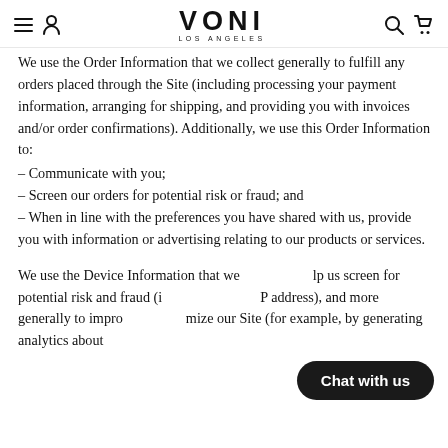VONI LOS ANGELES
We use the Order Information that we collect generally to fulfill any orders placed through the Site (including processing your payment information, arranging for shipping, and providing you with invoices and/or order confirmations). Additionally, we use this Order Information to:
- Communicate with you;
- Screen our orders for potential risk or fraud; and
- When in line with the preferences you have shared with us, provide you with information or advertising relating to our products or services.
We use the Device Information that we collect to help us screen for potential risk and fraud (i… IP address), and more generally to improve and optimize our Site (for example, by generating analytics about
[Figure (other): Chat with us button overlay]